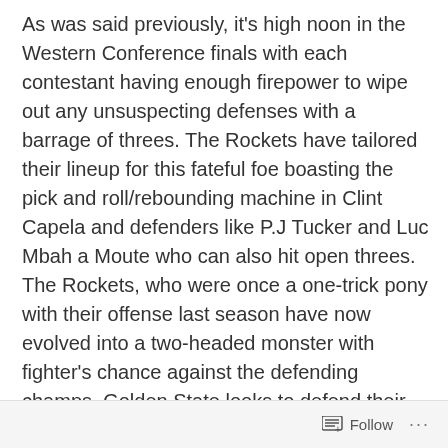As was said previously, it's high noon in the Western Conference finals with each contestant having enough firepower to wipe out any unsuspecting defenses with a barrage of threes. The Rockets have tailored their lineup for this fateful foe boasting the pick and roll/rebounding machine in Clint Capela and defenders like P.J Tucker and Luc Mbah a Moute who can also hit open threes. The Rockets, who were once a one-trick pony with their offense last season have now evolved into a two-headed monster with fighter's chance against the defending champs. Golden State looks to defend their title primarily with their insanely talented offense. For perspective, half of all the shots the Warriors take go in. Nearly 40% of their three pointers fall, too. Golden State has the loudest crowd in the league, which makes winning at home all the more crucial. Since the Rockets
Follow ···